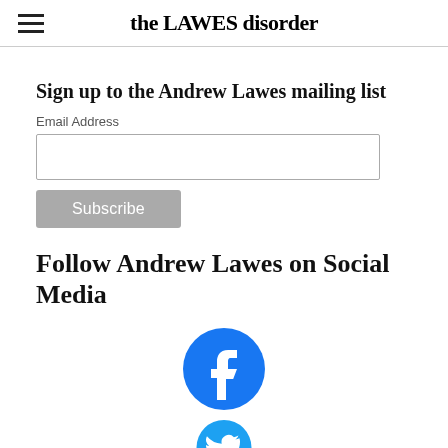the LAWES disorder
Sign up to the Andrew Lawes mailing list
Email Address
Subscribe
Follow Andrew Lawes on Social Media
[Figure (logo): Facebook logo — blue circle with white 'f' icon]
[Figure (logo): Twitter logo — blue circle with white bird icon (partially visible)]